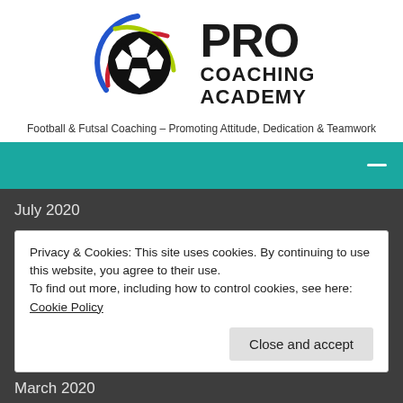[Figure (logo): Pro Coaching Academy logo with soccer ball and colorful arcs (red, yellow-green, blue)]
Football & Futsal Coaching – Promoting Attitude, Dedication & Teamwork
[Figure (other): Teal navigation bar with white hamburger menu icon on the right]
July 2020
Privacy & Cookies: This site uses cookies. By continuing to use this website, you agree to their use.
To find out more, including how to control cookies, see here: Cookie Policy
Close and accept
March 2020